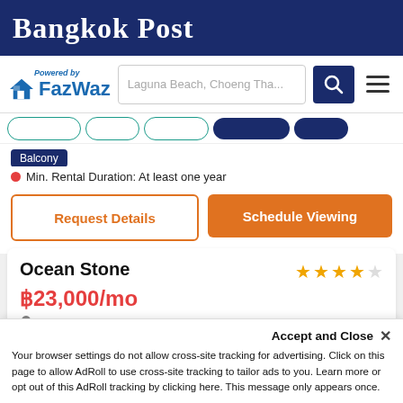Bangkok Post
[Figure (logo): FazWaz logo with house icon and search bar showing 'Laguna Beach, Choeng Tha...' with dark blue search button and hamburger menu]
Balcony
Min. Rental Duration: At least one year
Request Details | Schedule Viewing
Ocean Stone
฿23,000/mo
Choeng Thale
[Figure (photo): Interior room photo showing ceiling with light fixtures]
Accept and Close ✕
Your browser settings do not allow cross-site tracking for advertising. Click on this page to allow AdRoll to use cross-site tracking to tailor ads to you. Learn more or opt out of this AdRoll tracking by clicking here. This message only appears once.